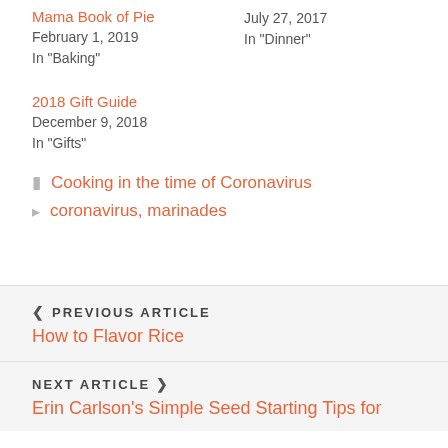Mama Book of Pie
February 1, 2019
In "Baking"
July 27, 2017
In "Dinner"
2018 Gift Guide
December 9, 2018
In "Gifts"
Cooking in the time of Coronavirus
coronavirus, marinades
PREVIOUS ARTICLE
How to Flavor Rice
NEXT ARTICLE
Erin Carlson's Simple Seed Starting Tips for